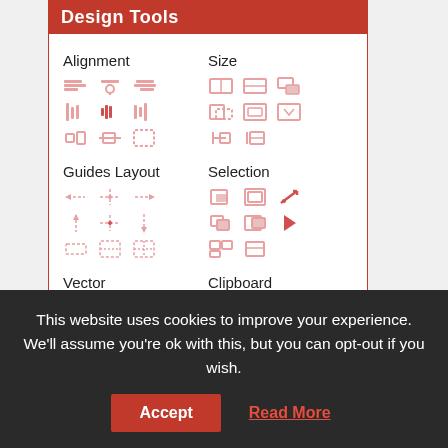Design Tools
Alignment
Size
Guides Layout
Selection
Vector
Clipboard
[Figure (screenshot): Design Tools panel showing icon grids for Alignment, Size, Guides Layout, Selection, Vector, and Clipboard sections with various tool icons in red/pink colors]
This website uses cookies to improve your experience. We'll assume you're ok with this, but you can opt-out if you wish.
Accept
Read More